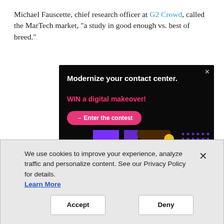Michael Fauscette, chief research officer at G2 Crowd, called the MarTech market, "a study in good enough vs. best of breed."
[Figure (screenshot): Advertisement banner with dark background. Text reads: 'Modernize your contact center.' in white bold, 'WIN a digital makeover!' in pink/red bold, and a pink rounded button '→ Enter the contest'. Lower half shows a woman with curly hair wearing yellow headphones and yellow shirt, dancing with purple geometric shapes and dot pattern on black background. An X close button is in top right corner.]
We use cookies to improve your experience, analyze traffic and personalize content. See our Privacy Policy for details. Learn More
Accept
Deny